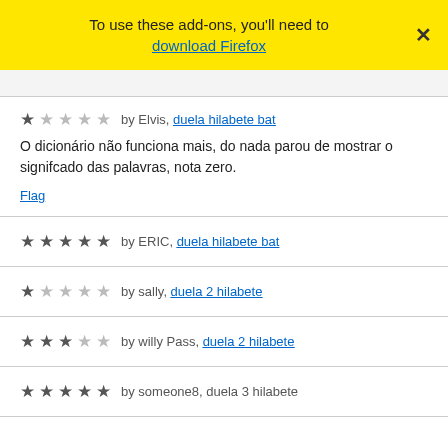To use these add-ons, you'll need to download Firefox
★☆☆☆☆ by Elvis, duela hilabete bat
O dicionário não funciona mais, do nada parou de mostrar o signifcado das palavras, nota zero.
Flag
★★★★★ by ERIC, duela hilabete bat
★☆☆☆☆ by sally, duela 2 hilabete
★★★☆☆ by willy Pass, duela 2 hilabete
★★★★★ by someone8, duela 3 hilabete